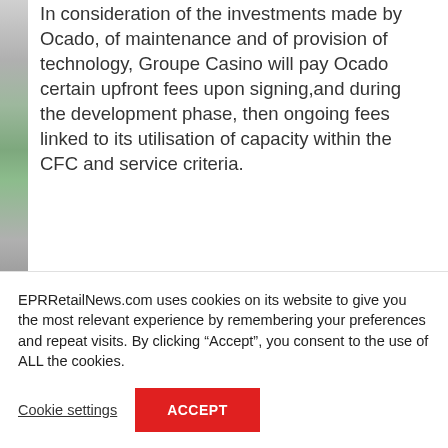In consideration of the investments made by Ocado, of maintenance and of provision of technology, Groupe Casino will pay Ocado certain upfront fees upon signing,and during the development phase, then ongoing fees linked to its utilisation of capacity within the CFC and service criteria.
In addition to the initial CFC
EPRRetailNews.com uses cookies on its website to give you the most relevant experience by remembering your preferences and repeat visits. By clicking “Accept”, you consent to the use of ALL the cookies.
Cookie settings
ACCEPT